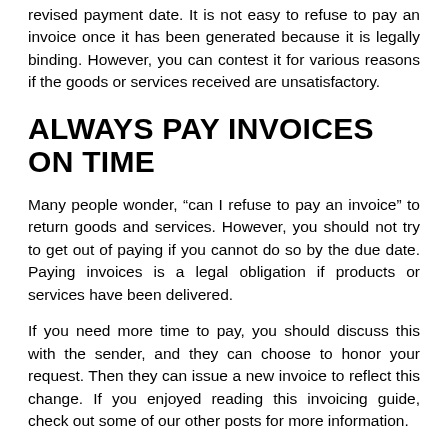revised payment date. It is not easy to refuse to pay an invoice once it has been generated because it is legally binding. However, you can contest it for various reasons if the goods or services received are unsatisfactory.
ALWAYS PAY INVOICES ON TIME
Many people wonder, “can I refuse to pay an invoice” to return goods and services. However, you should not try to get out of paying if you cannot do so by the due date. Paying invoices is a legal obligation if products or services have been delivered.
If you need more time to pay, you should discuss this with the sender, and they can choose to honor your request. Then they can issue a new invoice to reflect this change. If you enjoyed reading this invoicing guide, check out some of our other posts for more information.